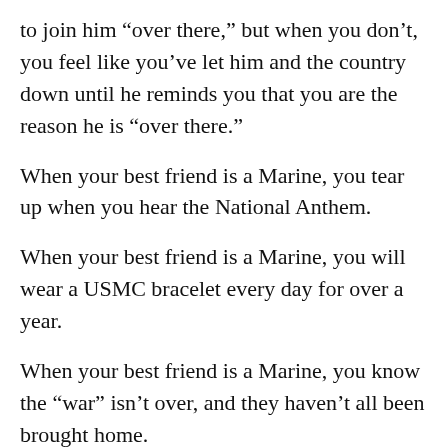to join him “over there,” but when you don’t, you feel like you’ve let him and the country down until he reminds you that you are the reason he is “over there.”
When your best friend is a Marine, you tear up when you hear the National Anthem.
When your best friend is a Marine, you will wear a USMC bracelet every day for over a year.
When your best friend is a Marine, you know the “war” isn’t over, and they haven’t all been brought home.
When your best friend is a Marine, you quickly